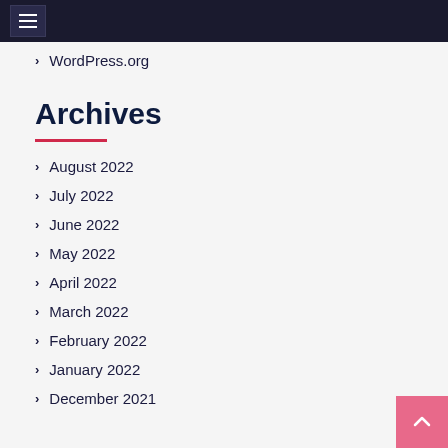Navigation menu header bar
WordPress.org
Archives
August 2022
July 2022
June 2022
May 2022
April 2022
March 2022
February 2022
January 2022
December 2021